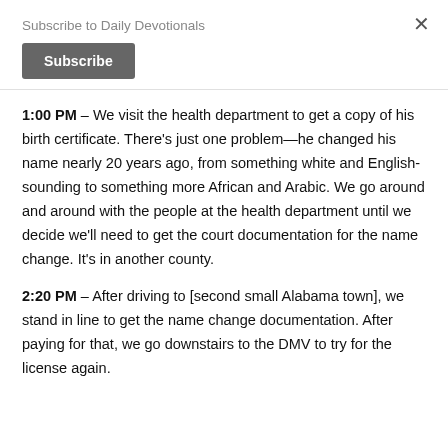Subscribe to Daily Devotionals
Subscribe
×
1:00 PM – We visit the health department to get a copy of his birth certificate. There's just one problem—he changed his name nearly 20 years ago, from something white and English-sounding to something more African and Arabic. We go around and around with the people at the health department until we decide we'll need to get the court documentation for the name change. It's in another county.
2:20 PM – After driving to [second small Alabama town], we stand in line to get the name change documentation. After paying for that, we go downstairs to the DMV to try for the license again.